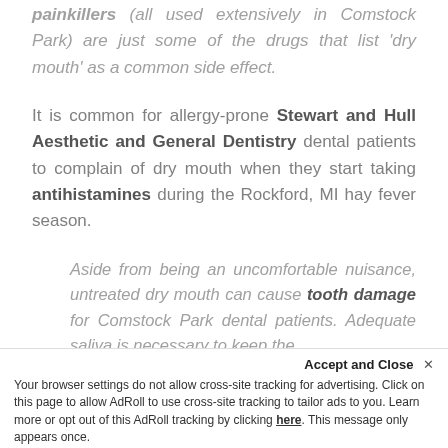painkillers (all used extensively in Comstock Park) are just some of the drugs that list 'dry mouth' as a common side effect.
It is common for allergy-prone Stewart and Hull Aesthetic and General Dentistry dental patients to complain of dry mouth when they start taking antihistamines during the Rockford, MI hay fever season.
Aside from being an uncomfortable nuisance, untreated dry mouth can cause tooth damage for Comstock Park dental patients. Adequate saliva is necessary to keep the
Accept and Close ×
Your browser settings do not allow cross-site tracking for advertising. Click on this page to allow AdRoll to use cross-site tracking to tailor ads to you. Learn more or opt out of this AdRoll tracking by clicking here. This message only appears once.